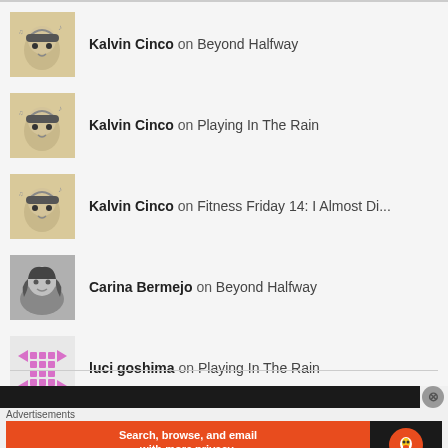Kalvin Cinco on Beyond Halfway
Kalvin Cinco on Playing In The Rain
Kalvin Cinco on Fitness Friday 14: I Almost Di...
Carina Bermejo on Beyond Halfway
luci goshima on Playing In The Rain
Advertisements
[Figure (screenshot): DuckDuckGo advertisement banner: orange background with text 'Search, browse, and email with more privacy.' and 'All in One Free App', with DuckDuckGo logo on dark background]